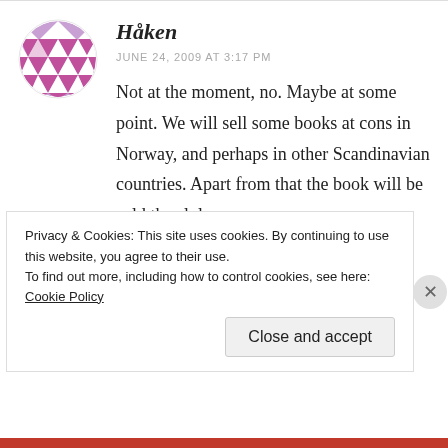[Figure (logo): Purple geometric pattern avatar icon — circle with diamond/star quilt pattern in purple and white]
Håken
JUNE 24, 2009 AT 3:17 PM
Not at the moment, no. Maybe at some point. We will sell some books at cons in Norway, and perhaps in other Scandinavian countries. Apart from that the book will be sold thru lulu.
REPLY
Privacy & Cookies: This site uses cookies. By continuing to use this website, you agree to their use.
To find out more, including how to control cookies, see here: Cookie Policy
Close and accept